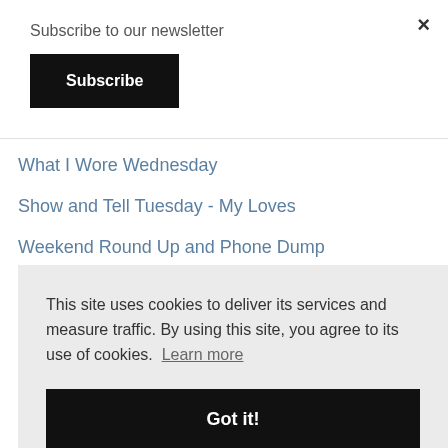Subscribe to our newsletter
Subscribe
×
What I Wore Wednesday
Show and Tell Tuesday - My Loves
Weekend Round Up and Phone Dump
This site uses cookies to deliver its services and measure traffic. By using this site, you agree to its use of cookies. Learn more
Got it!